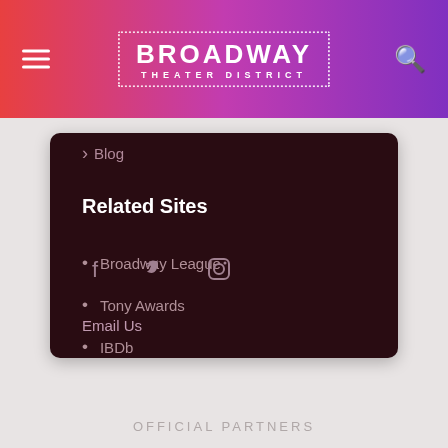Broadway Theater District
Blog
Related Sites
Broadway League
Tony Awards
IBDb
[Figure (infographic): Social media icons: Facebook, Twitter, Instagram]
Email Us
OFFICIAL PARTNERS